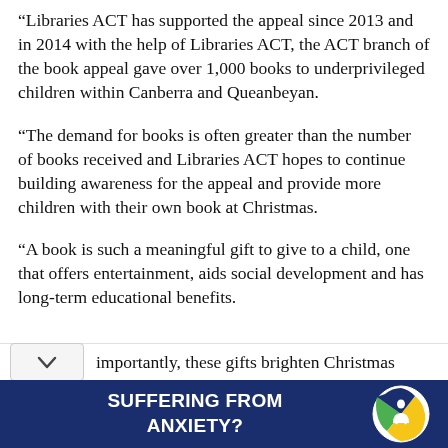“Libraries ACT has supported the appeal since 2013 and in 2014 with the help of Libraries ACT, the ACT branch of the book appeal gave over 1,000 books to underprivileged children within Canberra and Queanbeyan.
“The demand for books is often greater than the number of books received and Libraries ACT hopes to continue building awareness for the appeal and provide more children with their own book at Christmas.
“A book is such a meaningful gift to give to a child, one that offers entertainment, aids social development and has long-term educational benefits.
…importantly, these gifts brighten Christmas
[Figure (infographic): Advertisement banner with dark navy blue background reading 'SUFFERING FROM ANXIETY?' in bold white text, with a circular logo on the right showing a person figure with green and yellow/orange colors.]